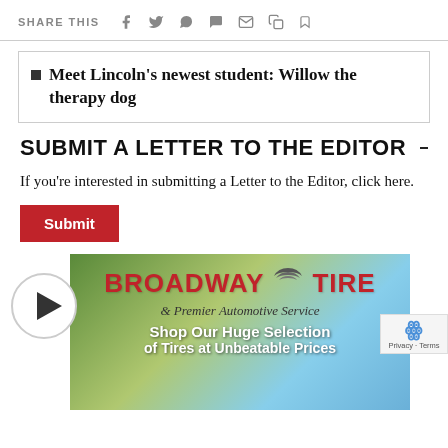SHARE THIS [social share icons: Facebook, Twitter, WhatsApp, Chat, Email, Copy, Bookmark]
Meet Lincoln's newest student: Willow the therapy dog
SUBMIT A LETTER TO THE EDITOR
If you're interested in submitting a Letter to the Editor, click here.
Submit
[Figure (other): Broadway Tire & Premier Automotive Service advertisement with play button, showing 'Shop Our Huge Selection of Tires at Unbeatable Prices' with forest/sky background and a reCAPTCHA privacy badge.]